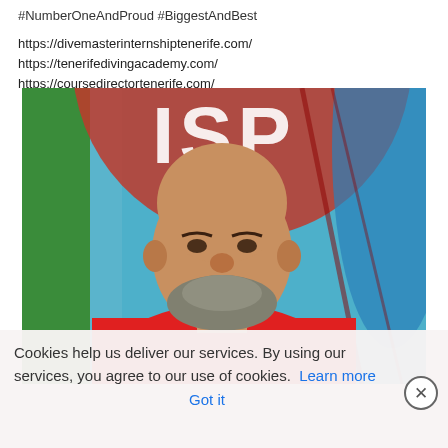#NumberOneAndProud #BiggestAndBest

https://divemasterinternshiptenerife.com/
https://tenerifedivingacademy.com/
https://coursedirectortenerife.com/
[Figure (photo): Portrait photo of a bald man with a beard, wearing a red t-shirt, smiling at the camera. He is standing in front of a blue and red ISPO branded banner/flag, with a green surface visible on the left.]
Cookies help us deliver our services. By using our services, you agree to our use of cookies. Learn more   Got it